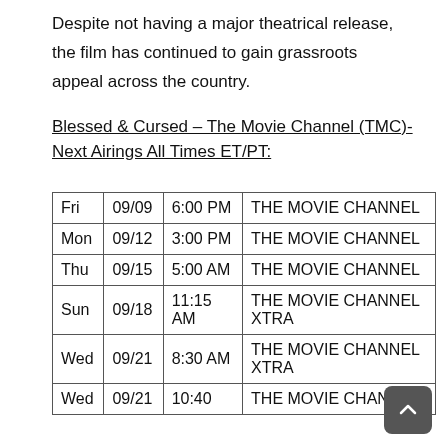Despite not having a major theatrical release, the film has continued to gain grassroots appeal across the country.
Blessed & Cursed – The Movie Channel (TMC)-Next Airings All Times ET/PT:
| Fri | 09/09 | 6:00 PM | THE MOVIE CHANNEL |
| Mon | 09/12 | 3:00 PM | THE MOVIE CHANNEL |
| Thu | 09/15 | 5:00 AM | THE MOVIE CHANNEL |
| Sun | 09/18 | 11:15 AM | THE MOVIE CHANNEL XTRA |
| Wed | 09/21 | 8:30 AM | THE MOVIE CHANNEL XTRA |
| Wed | 09/21 | 10:40 | THE MOVIE CHANNEL |